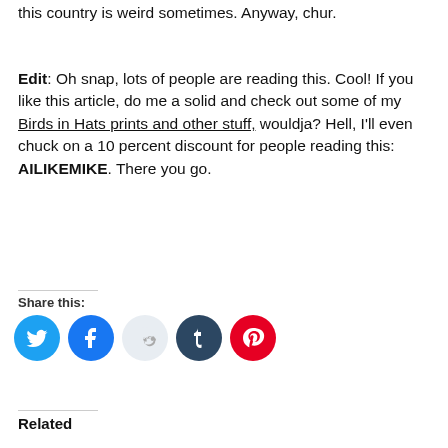this country is weird sometimes. Anyway, chur.
Edit: Oh snap, lots of people are reading this. Cool! If you like this article, do me a solid and check out some of my Birds in Hats prints and other stuff, wouldja? Hell, I'll even chuck on a 10 percent discount for people reading this: AILIKEMIKE. There you go.
Share this:
[Figure (infographic): Social share icons: Twitter (blue), Facebook (blue), Reddit (light grey), Tumblr (dark navy), Pinterest (red)]
Related